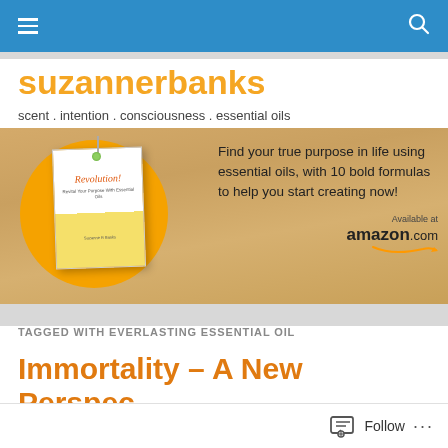suzannerbanks navigation bar
suzannerbanks
scent . intention . consciousness . essential oils
[Figure (illustration): Promotional banner for 'Revolution!' book about essential oils, showing the book cover on an orange circle against a wood-grain background, with text: Find your true purpose in life using essential oils, with 10 bold formulas to help you start creating now! Available at amazon.com]
TAGGED WITH EVERLASTING ESSENTIAL OIL
Immortality – A New Perspec…